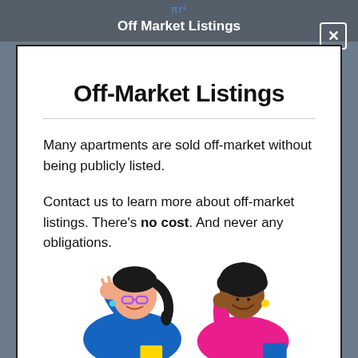Off Market Listings
Off-Market Listings
Many apartments are sold off-market without being publicly listed.
Contact us to learn more about off-market listings. There's no cost. And never any obligations.
[Figure (illustration): Two women talking: one in a blue top with glasses and a ponytail, the other in a pink top with curly hair holding a folder.]